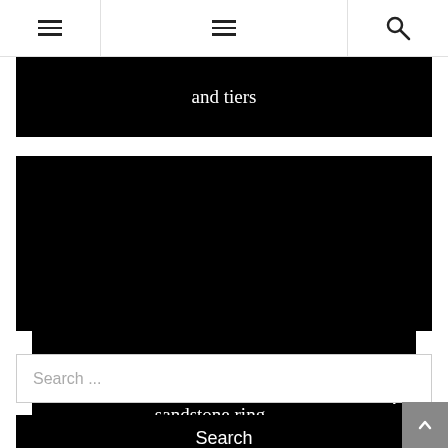Navigation header with hamburger menu icons and search icon
and tiers
Some other designs enclose three sandstone ring
Search ...
Search